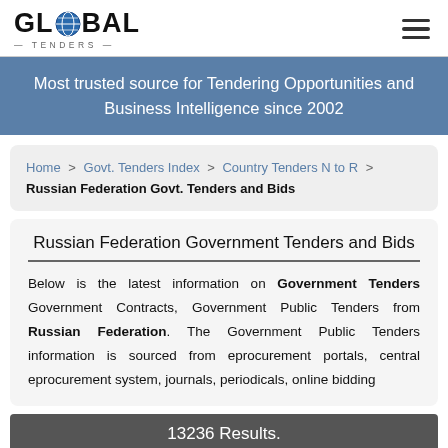GLOBAL TENDERS — TENDERS —
Most trusted source for Tendering Opportunities and Business Intelligence since 2002
Home > Govt. Tenders Index > Country Tenders N to R > Russian Federation Govt. Tenders and Bids
Russian Federation Government Tenders and Bids
Below is the latest information on Government Tenders Government Contracts, Government Public Tenders from Russian Federation. The Government Public Tenders information is sourced from eprocurement portals, central eprocurement system, journals, periodicals, online bidding
13236 Results.